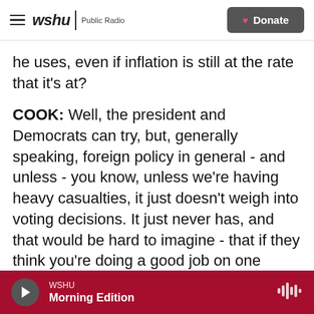wshu | Public Radio — Donate
he uses, even if inflation is still at the rate that it's at?
COOK: Well, the president and Democrats can try, but, generally speaking, foreign policy in general - and unless - you know, unless we're having heavy casualties, it just doesn't weigh into voting decisions. It just never has, and that would be hard to imagine - that if they think you're doing a good job on one thing, then they start focusing on something else. But, you know, it's not likely that the economy is going to turn around enough or that the inflation is going to come down enough, I think,
WSHU — Morning Edition